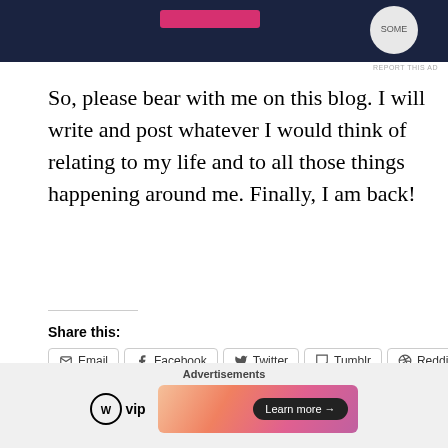[Figure (screenshot): Top advertisement banner, dark navy background with partial UI elements visible]
REPORT THIS AD
So, please bear with me on this blog. I will write and post whatever I would think of relating to my life and to all those things happening around me. Finally, I am back!
Share this:
Email  Facebook  Twitter  Tumblr  Reddit  LinkedIn  WhatsApp  Print  Pinterest
Loading
[Figure (screenshot): Bottom Advertisements bar with WordPress VIP logo and a colorful gradient ad banner with Learn more button]